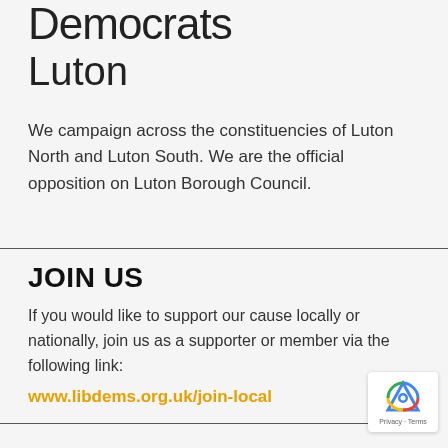Democrats
Luton
We campaign across the constituencies of Luton North and Luton South. We are the official opposition on Luton Borough Council.
JOIN US
If you would like to support our cause locally or nationally, join us as a supporter or member via the following link:
www.libdems.org.uk/join-local